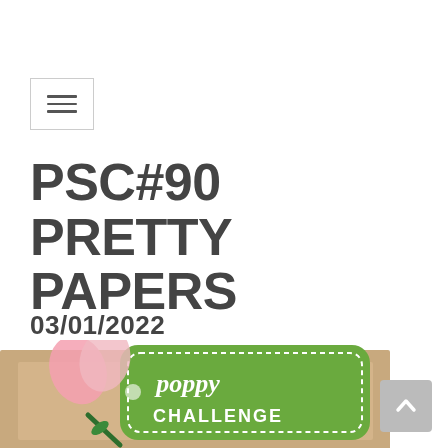[Figure (screenshot): Hamburger menu button icon with three horizontal lines inside a rectangle border]
PSC#90 PRETTY PAPERS
03/01/2022
[Figure (illustration): Poppy challenge badge: a green scalloped tag with white script text reading 'poppy CHALLENGE' and a pink poppy flower on kraft card background]
[Figure (screenshot): Scroll-to-top button: grey rounded rectangle with upward chevron arrow]